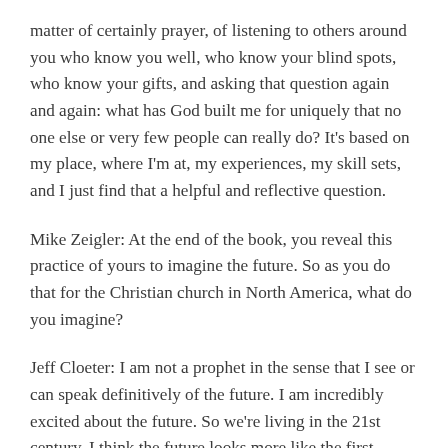matter of certainly prayer, of listening to others around you who know you well, who know your blind spots, who know your gifts, and asking that question again and again: what has God built me for uniquely that no one else or very few people can really do? It's based on my place, where I'm at, my experiences, my skill sets, and I just find that a helpful and reflective question.
Mike Zeigler: At the end of the book, you reveal this practice of yours to imagine the future. So as you do that for the Christian church in North America, what do you imagine?
Jeff Cloeter: I am not a prophet in the sense that I see or can speak definitively of the future. I am incredibly excited about the future. So we're living in the 21st century, I think the future looks more like the first century than it does the 20th.